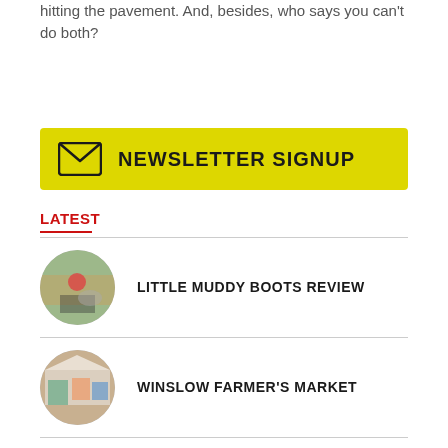hitting the pavement. And, besides, who says you can't do both?
[Figure (other): Yellow newsletter signup banner with envelope icon and text NEWSLETTER SIGNUP]
LATEST
LITTLE MUDDY BOOTS REVIEW
WINSLOW FARMER'S MARKET
(partial item, image only visible)